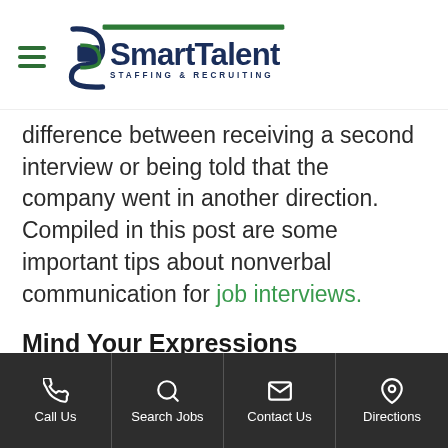SmartTalent Staffing & Recruiting
difference between receiving a second interview or being told that the company went in another direction. Compiled in this post are some important tips about nonverbal communication for job interviews.
Mind Your Expressions
It is vitally important to make sure that you smile during the interview. Mix one in every so often, but do not smile at inappropriate times. You should also consider mixing in various
Call Us | Search Jobs | Contact Us | Directions